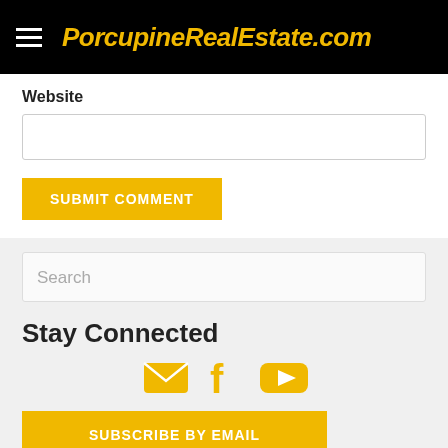PorcupineRealEstate.com
Website
SUBMIT COMMENT
Search
Stay Connected
[Figure (infographic): Social media icons: email envelope, Facebook f, YouTube play button — all in golden/yellow color]
SUBSCRIBE BY EMAIL
Recent Posts